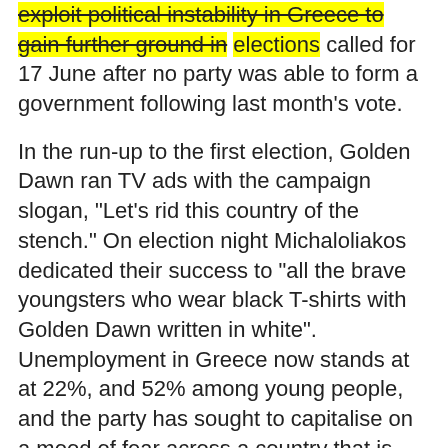exploit political instability in Greece to gain further ground in elections called for 17 June after no party was able to form a government following last month's vote.
In the run-up to the first election, Golden Dawn ran TV ads with the campaign slogan, "Let's rid this country of the stench." On election night Michaloliakos dedicated their success to "all the brave youngsters who wear black T-shirts with Golden Dawn written in white". Unemployment in Greece now stands at at 22%, and 52% among young people, and the party has sought to capitalise on a mood of fear across a country that is struggling to come to terms with rising crime, falling living standards and a feeling that it is on the brink of economic and political meltdow.
Greece's 1 million immigrants have become an easy target for neo-Nazi and other far-right groups, who regularly parade through Athens chanting racist slogans.
On Saturday the youth wing of the leftwing Syriza party condemned the attack, saying: "An orgy of violence and murderous attacks is taking place in the streets of Athens … They say that they will address the immigration issue with …